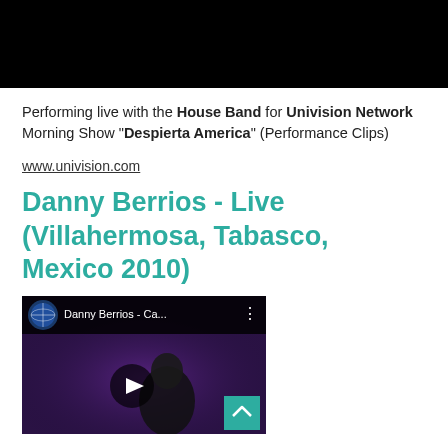[Figure (screenshot): Top portion of a video player showing a dark/black screen]
Performing live with the House Band for Univision Network Morning Show "Despierta America" (Performance Clips)
www.univision.com
Danny Berrios - Live (Villahermosa, Tabasco, Mexico 2010)
[Figure (screenshot): YouTube video thumbnail showing Danny Berrios - Ca... with play button, performer visible in background on purple-lit stage]